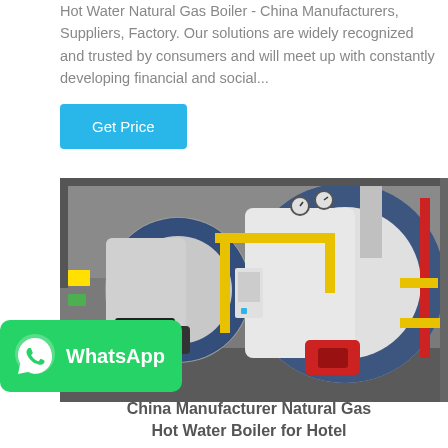Hot Water Natural Gas Boiler - China Manufacturers, Suppliers, Factory. Our solutions are widely recognized and trusted by consumers and will meet up with constantly developing financial and social...
Get Price
[Figure (photo): Industrial hot water natural gas boilers in a factory room, showing two large cylindrical boilers with blue fronts, yellow gas pipes, red and silver fittings, and associated equipment.]
[Figure (logo): WhatsApp logo and label on green background]
China Manufacturer Natural Gas Hot Water Boiler for Hotel